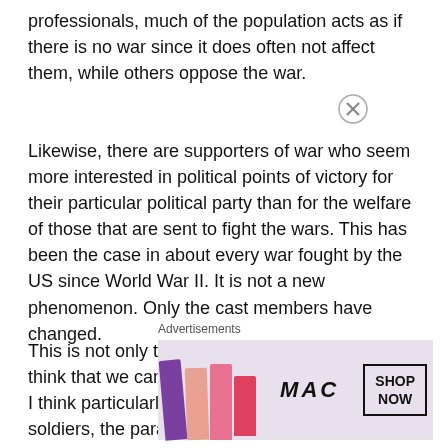professionals, much of the population acts as if there is no war since it does often not affect them, while others oppose the war.
Likewise, there are supporters of war who seem more interested in political points of victory for their particular political party than for the welfare of those that are sent to fight the wars. This has been the case in about every war fought by the US since World War II. It is not a new phenomenon. Only the cast members have changed.
This is not only the case with the United States. I think that we can find parallels in other militaries. I think particularly of the French professional soldiers, the paratroops and
Advertisements
[Figure (illustration): MAC Cosmetics advertisement showing colorful lipsticks on the left side, MAC logo in the center in italic text, and a 'SHOP NOW' button on the right. Background is light purple/mauve. A close/X button appears at top right of the ad area.]